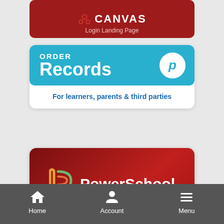[Figure (screenshot): Canvas LMS login landing page button card, dark red background, partially visible at top]
[Figure (screenshot): Order Records banner with teal background showing 'ORDER Records' text and white P badge, subtitle 'For learners, parents & third parties']
[Figure (screenshot): PowerSchool card with dark red gradient background, PowerSchool logo and text, subtitle 'Subs Login']
[Figure (screenshot): Bottom navigation bar with Home, Account, and Menu icons on dark gray background]